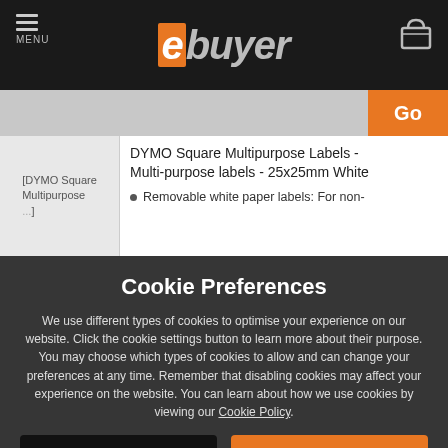ebuyer - MENU [navigation header with logo and cart]
[Figure (screenshot): ebuyer website header with menu icon, ebuyer logo, and shopping cart icon on dark background, with orange Go search button]
[Figure (photo): DYMO Square Multipurpose label product image placeholder]
DYMO Square Multipurpose Labels - Multi-purpose labels - 25x25mm White
Removable white paper labels: For non-
Cookie Preferences
We use different types of cookies to optimise your experience on our website. Click the cookie settings button to learn more about their purpose. You may choose which types of cookies to allow and can change your preferences at any time. Remember that disabling cookies may affect your experience on the website. You can learn about how we use cookies by viewing our Cookie Policy.
Amend Your Preference
✓ Accept All Cookies